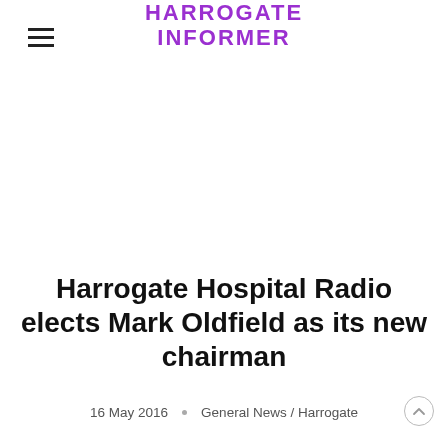HARROGATE INFORMER
Harrogate Hospital Radio elects Mark Oldfield as its new chairman
16 May 2016 · General News / Harrogate